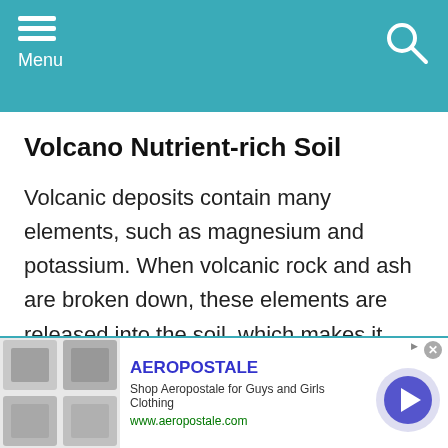Menu
Volcano Nutrient-rich Soil
Volcanic deposits contain many elements, such as magnesium and potassium. When volcanic rock and ash are broken down, these elements are released into the soil, which makes it very fertile. Ash layers can be used as natural fertilizers, which can result in
[Figure (other): Advertisement banner for Aeropostale showing clothing images, brand name, description 'Shop Aeropostale for Guys and Girls Clothing', URL www.aeropostale.com, and a navigation arrow button]